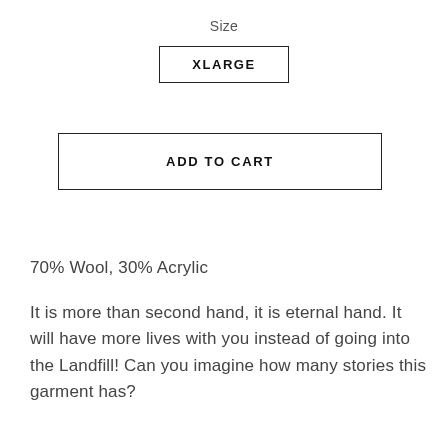Size
XLARGE
ADD TO CART
70% Wool, 30% Acrylic
It is more than second hand, it is eternal hand. It will have more lives with you instead of going into the Landfill! Can you imagine how many stories this garment has?